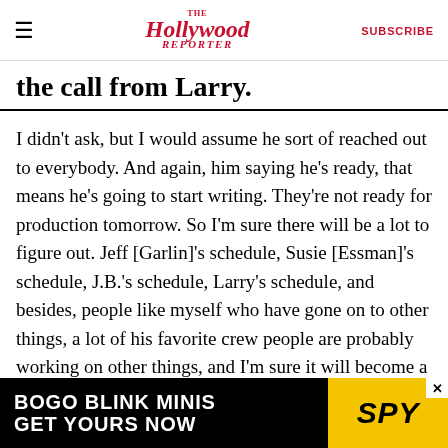The Hollywood Reporter | SUBSCRIBE
the call from Larry.
I didn't ask, but I would assume he sort of reached out to everybody. And again, him saying he's ready, that means he's going to start writing. They're not ready for production tomorrow. So I'm sure there will be a lot to figure out. Jeff [Garlin]'s schedule, Susie [Essman]'s schedule, J.B.'s schedule, Larry's schedule, and besides, people like myself who have gone on to other things, a lot of his favorite crew people are probably working on other things, and I'm sure it will become a little bit of, how can the people who want to work on the show figure out
[Figure (infographic): Advertisement banner: BOGO BLINK MINIS GET YOURS NOW with SPY logo on yellow background]